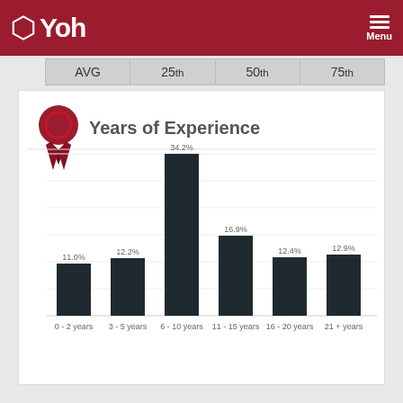Yoh Menu
| AVG | 25th | 50th | 75th |
| --- | --- | --- | --- |
[Figure (bar-chart): Years of Experience]